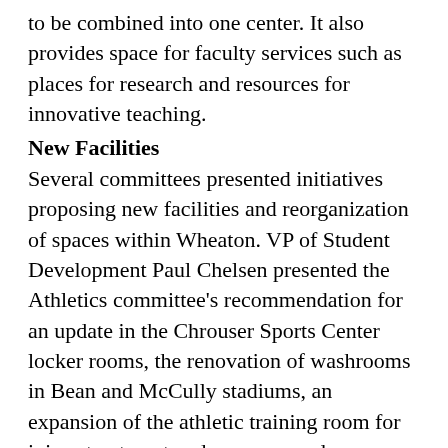to be combined into one center. It also provides space for faculty services such as places for research and resources for innovative teaching.
New Facilities
Several committees presented initiatives proposing new facilities and reorganization of spaces within Wheaton. VP of Student Development Paul Chelsen presented the Athletics committee’s recommendation for an update in the Chrouser Sports Center locker rooms, the renovation of washrooms in Bean and McCully stadiums, an expansion of the athletic training room for injury treatment and recovery and a new project to create a visiting football team locker room.
Students and faculty showed a powerpoint with examples of recently built libraries at other college campuses, advocating for an updated library to be built at Wheaton. They compared Buswell’s low ceilings and cramped spaces to larger and more modern rooms.
Associate Professor of History Matthew Lundin presented